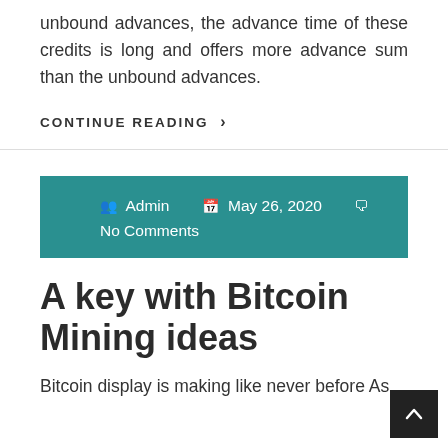unbound advances, the advance time of these credits is long and offers more advance sum than the unbound advances.
CONTINUE READING >
Admin   May 26, 2020   No Comments
A key with Bitcoin Mining ideas
Bitcoin display is making like never before As